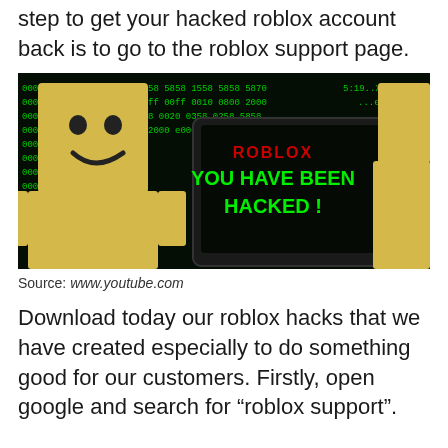step to get your hacked roblox account back is to go to the roblox support page.
[Figure (photo): A Roblox noob character (yellow blocky figure with smiley face) standing in front of a dark screen showing green hex code in the background, and a laptop/tablet screen displaying 'ROBLOX YOU HAVE BEEN HACKED !' in green text with the Roblox logo in red.]
Source: www.youtube.com
Download today our roblox hacks that we have created especially to do something good for our customers. Firstly, open google and search for “roblox support”.